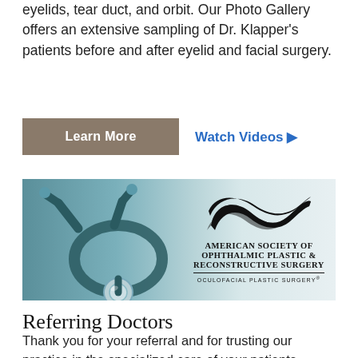eyelids, tear duct, and orbit. Our Photo Gallery offers an extensive sampling of Dr. Klapper's patients before and after eyelid and facial surgery.
Learn More | Watch Videos ▶
[Figure (photo): Banner image showing a stethoscope on the left side with a teal/blue background, and the American Society of Ophthalmic Plastic & Reconstructive Surgery (ASOPRS) logo with wave graphic on the right side.]
Referring Doctors
Thank you for your referral and for trusting our practice in the specialized care of your patients. Please download and fax our referral form or contact